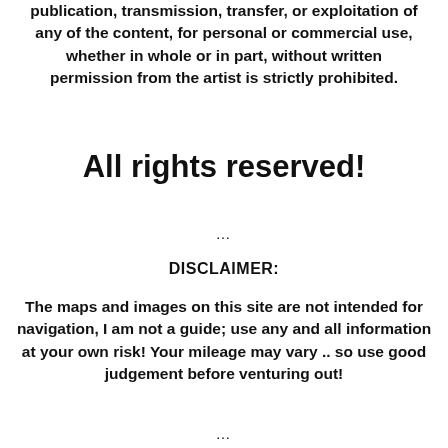publication, transmission, transfer, or exploitation of any of the content, for personal or commercial use, whether in whole or in part, without written permission from the artist is strictly prohibited.
All rights reserved!
…
DISCLAIMER:
The maps and images on this site are not intended for navigation, I am not a guide; use any and all information at your own risk! Your mileage may vary .. so use good judgement before venturing out!
…